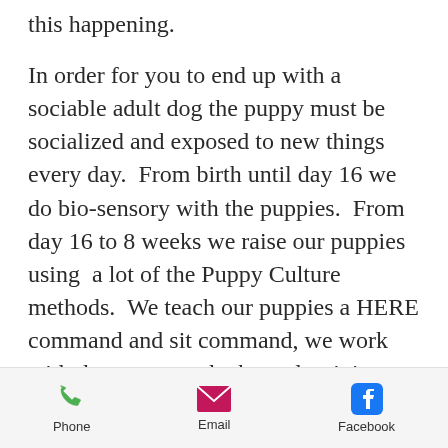this happening.
In order for you to end up with a sociable adult dog the puppy must be socialized and exposed to new things every day.  From birth until day 16 we do bio-sensory with the puppies.  From day 16 to 8 weeks we raise our puppies using  a lot of the Puppy Culture methods.  We teach our puppies a HERE command and sit command, we work with them to start the kennel training process and our puppies have a
Phone   Email   Facebook